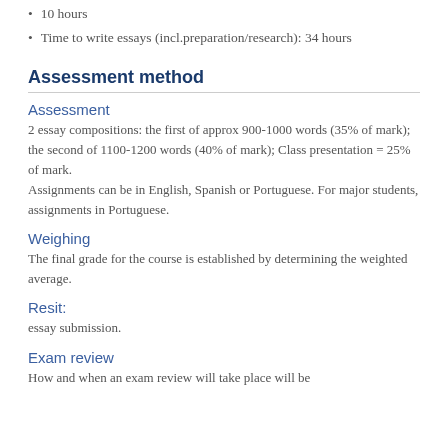10 hours
Time to write essays (incl.preparation/research): 34 hours
Assessment method
Assessment
2 essay compositions: the first of approx 900-1000 words (35% of mark); the second of 1100-1200 words (40% of mark); Class presentation = 25% of mark.
Assignments can be in English, Spanish or Portuguese. For major students, assignments in Portuguese.
Weighing
The final grade for the course is established by determining the weighted average.
Resit:
essay submission.
Exam review
How and when an exam review will take place will be